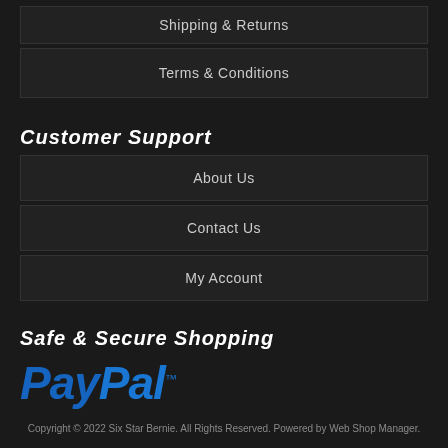Shipping & Returns
Terms & Conditions
Customer Support
About Us
Contact Us
My Account
Safe & Secure Shopping
[Figure (logo): PayPal logo in blue italic bold text with trademark symbol]
Copyright © 2022 Six Star Bernie. All Rights Reserved. Powered by Web Shop Manager.